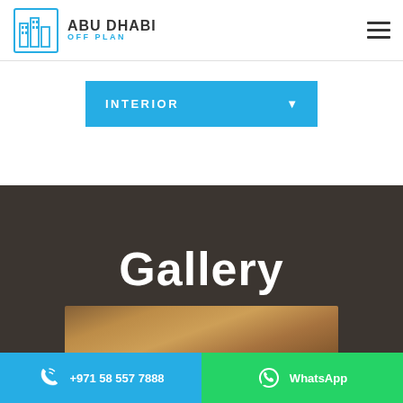[Figure (logo): Abu Dhabi Off Plan logo with building skyline icon in blue outline style]
ABU DHABI OFF PLAN
[Figure (other): Hamburger menu icon (three horizontal lines)]
[Figure (other): Dropdown selector button with label INTERIOR and down arrow, blue background]
Gallery
[Figure (photo): Partial view of an interior photo with warm brown/golden tones at bottom of dark section]
+971 58 557 7888
WhatsApp